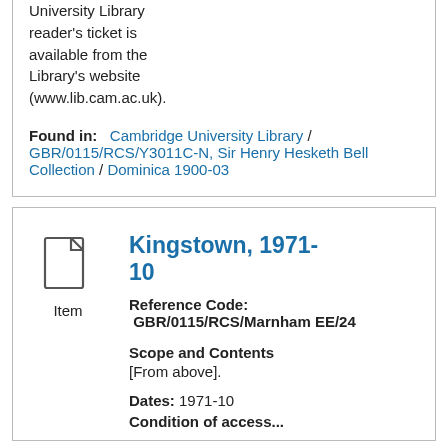University Library reader's ticket is available from the Library's website (www.lib.cam.ac.uk).
Found in: Cambridge University Library / GBR/0115/RCS/Y3011C-N, Sir Henry Hesketh Bell Collection / Dominica 1900-03
Kingstown, 1971-10
Reference Code: GBR/0115/RCS/MarnhamEE/24
Scope and Contents
[From above].
Dates: 1971-10
Condition of access...